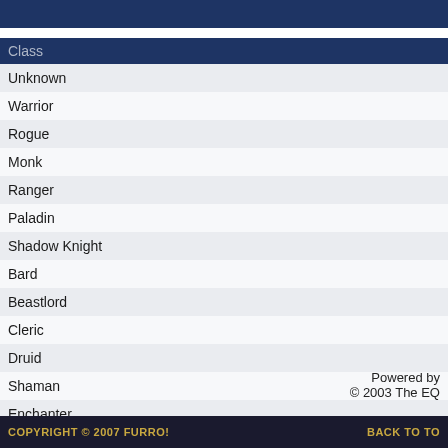| Class |
| --- |
| Unknown |
| Warrior |
| Rogue |
| Monk |
| Ranger |
| Paladin |
| Shadow Knight |
| Bard |
| Beastlord |
| Cleric |
| Druid |
| Shaman |
| Enchanter |
| Wizard |
| Necromancer |
| Magician |
| Berserker |
Powered by
© 2003 The EQ
COPYRIGHT © 2007 FURRO!    BACK TO TO